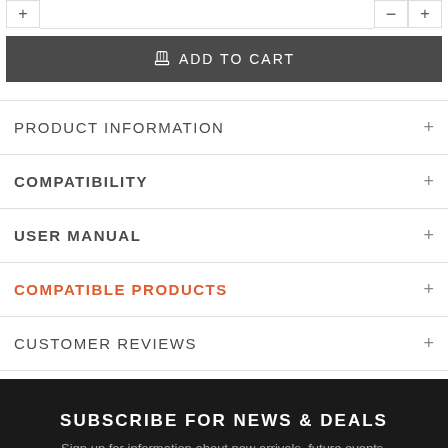[Figure (screenshot): Add to cart button with shopping cart icon on dark gray background]
PRODUCT INFORMATION
COMPATIBILITY
USER MANUAL
COMPATIBLE PRODUCTS
CUSTOMER REVIEWS
SUBSCRIBE FOR NEWS & DEALS
Sign up for information about new arrivals, future events.